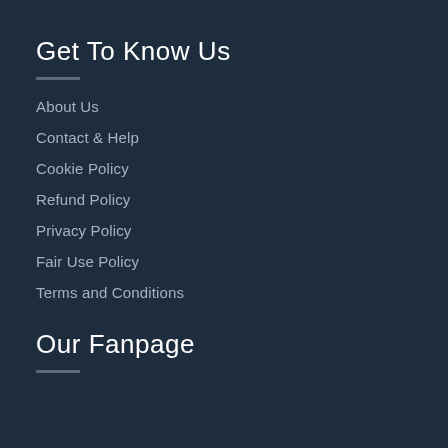Get To Know Us
About Us
Contact & Help
Cookie Policy
Refund Policy
Privacy Policy
Fair Use Policy
Terms and Conditions
Our Fanpage